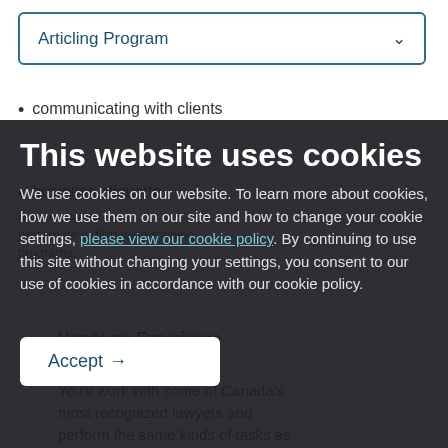Articling Program
communicating with clients
matters on practice management
business etiquette
This website uses cookies
We use cookies on our website. To learn more about cookies, how we use them on our site and how to change your cookie settings, please view our cookie policy. By continuing to use this site without changing your settings, you consent to our use of cookies in accordance with our cookie policy.
how to use them, participate in firm-wide training programs.
Hands-on Experience
You'll work with some of Canada's most recognized lawyers and perform the same kinds of tasks as our junior associates, such as:
Accept